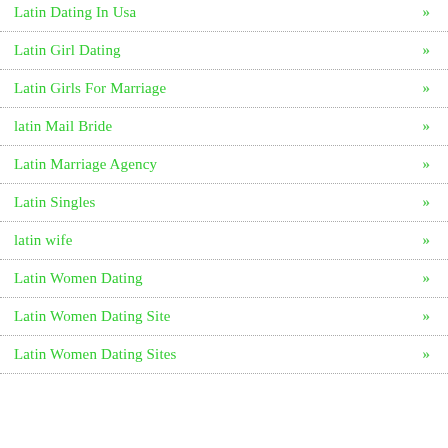Latin Dating In Usa »
Latin Girl Dating »
Latin Girls For Marriage »
latin Mail Bride »
Latin Marriage Agency »
Latin Singles »
latin wife »
Latin Women Dating »
Latin Women Dating Site »
Latin Women Dating Sites »